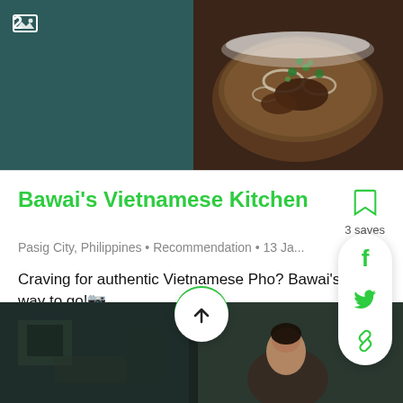[Figure (photo): Photo of Vietnamese pho bowl with meat, onions, and green herbs in a white bowl, dark teal background beside it with photo count badge showing image icon and '2']
Bawai's Vietnamese Kitchen
Pasig City, Philippines • Recommendation • 13 Ja...  3 saves
Craving for authentic Vietnamese Pho? Bawai's is the way to go!
Would highly recommend.
[Figure (infographic): Social sharing panel with Facebook, Twitter, and link icons in green on white rounded rectangle]
[Figure (photo): Bottom photo strip showing a dark restaurant interior and a person]